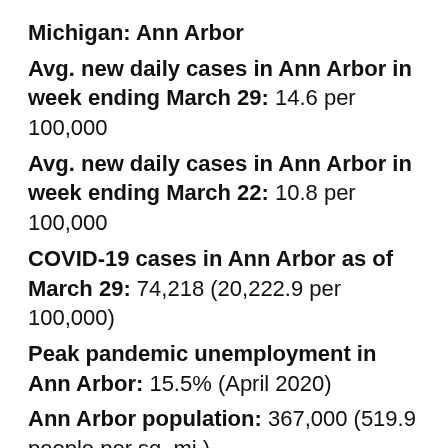Michigan: Ann Arbor
Avg. new daily cases in Ann Arbor in week ending March 29: 14.6 per 100,000
Avg. new daily cases in Ann Arbor in week ending March 22: 10.8 per 100,000
COVID-19 cases in Ann Arbor as of March 29: 74,218 (20,222.9 per 100,000)
Peak pandemic unemployment in Ann Arbor: 15.5% (April 2020)
Ann Arbor population: 367,000 (519.9 people per sq. mi.)
These are all the counties in Michigan where